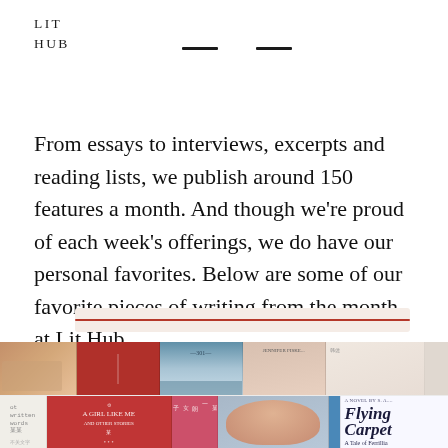LIT
HUB
From essays to interviews, excerpts and reading lists, we publish around 150 features a month. And though we’re proud of each week’s offerings, we do have our personal favorites. Below are some of our favorite pieces of writing from the month at Lit Hub.
[Figure (photo): A horizontal strip of book covers displayed in two rows, showing various book covers in shades of red, pink, blue, and cream/beige colors. Visible text includes 'A Girl Like Me and Other Stories', 'Flying Carpet A Tale of Ferrillia', and other partially visible book titles. The covers represent a curated selection of books from Lit Hub.]